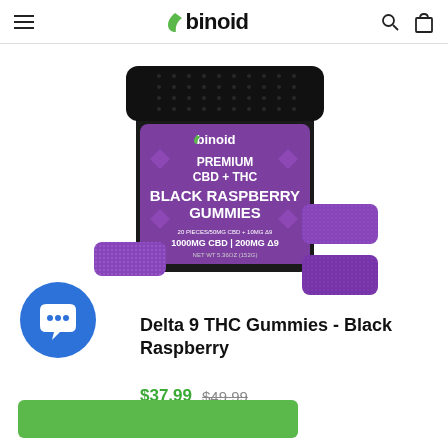Binoid — navigation bar with logo, search, and bag icons
[Figure (photo): A black jar of Binoid Premium CBD + THC Black Raspberry Gummies (1000mg CBD | 200mg Delta-9 THC, 20 pieces) with three purple gummy candies placed around it on a white background.]
Delta 9 THC Gummies - Black Raspberry
$37.99  $49.99